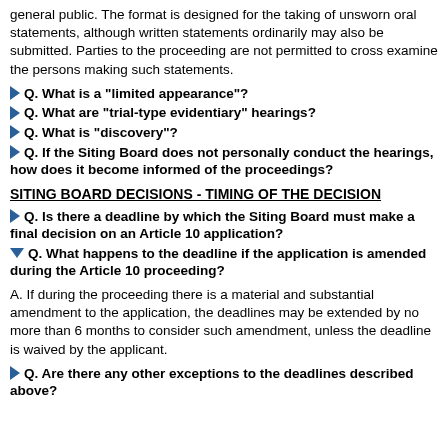general public. The format is designed for the taking of unsworn oral statements, although written statements ordinarily may also be submitted. Parties to the proceeding are not permitted to cross examine the persons making such statements.
Q. What is a "limited appearance"?
Q. What are "trial-type evidentiary" hearings?
Q. What is "discovery"?
Q. If the Siting Board does not personally conduct the hearings, how does it become informed of the proceedings?
SITING BOARD DECISIONS - TIMING OF THE DECISION
Q. Is there a deadline by which the Siting Board must make a final decision on an Article 10 application?
Q. What happens to the deadline if the application is amended during the Article 10 proceeding?
A. If during the proceeding there is a material and substantial amendment to the application, the deadlines may be extended by no more than 6 months to consider such amendment, unless the deadline is waived by the applicant.
Q. Are there any other exceptions to the deadlines described above?